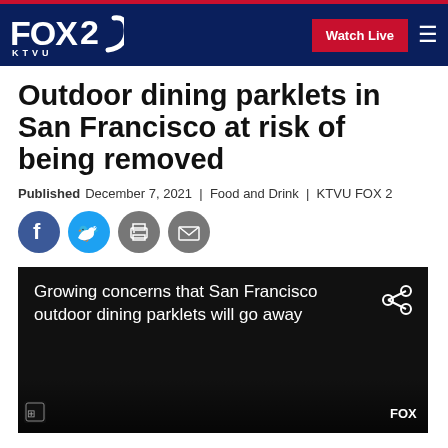FOX 2 KTVU | Watch Live
Outdoor dining parklets in San Francisco at risk of being removed
Published December 7, 2021 | Food and Drink | KTVU FOX 2
[Figure (infographic): Social share icons: Facebook, Twitter, Print, Email]
[Figure (screenshot): Video thumbnail with caption: Growing concerns that San Francisco outdoor dining parklets will go away]